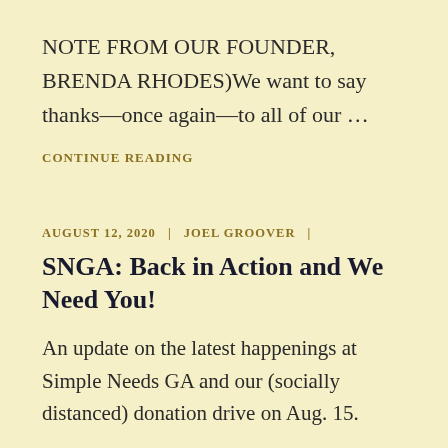NOTE FROM OUR FOUNDER, BRENDA RHODES)We want to say thanks—once again—to all of our …
CONTINUE READING
AUGUST 12, 2020  |  JOEL GROOVER  |
SNGA: Back in Action and We Need You!
An update on the latest happenings at Simple Needs GA and our (socially distanced) donation drive on Aug. 15.